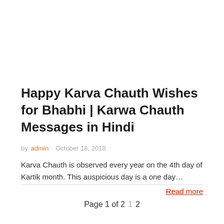Happy Karva Chauth Wishes for Bhabhi | Karwa Chauth Messages in Hindi
by admin   October 18, 2018
Karva Chauth is observed every year on the 4th day of Kartik month. This auspicious day is a one day…
Read more
Page 1 of 2   1   2